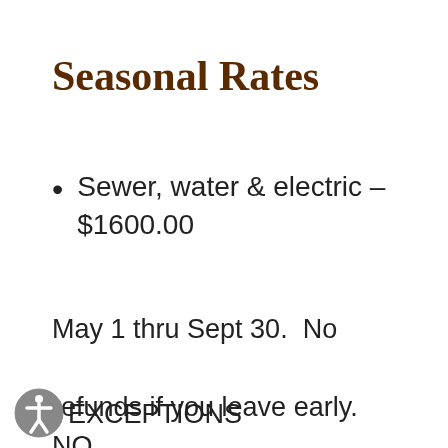Seasonal Rates
Sewer, water & electric – $1600.00
May 1 thru Sept 30.  No refunds if you leave early.  NO EXCEPTIONS